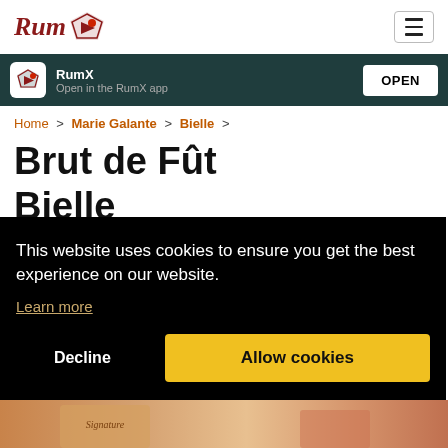[Figure (logo): RumX logo with stylized italic text 'Rum' and a diamond/star icon in dark red]
RumX
Open in the RumX app
OPEN
Home > Marie Galante > Bielle >
Brut de Fût
Bielle
This website uses cookies to ensure you get the best experience on our website.
Learn more
Decline
Allow cookies